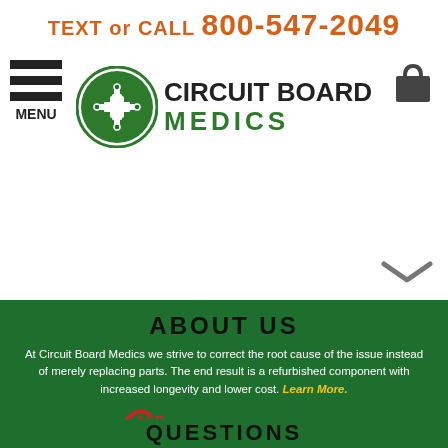TEXT or CALL 800-547-2049
[Figure (logo): Circuit Board Medics logo with green cross in circle and company name]
ABOUT US
At Circuit Board Medics we strive to correct the root cause of the issue instead of merely replacing parts. The end result is a refurbished component with increased longevity and lower cost. Learn More.
[Figure (logo): ASR American Systems Registrar logo - ISO 9001 Certified QMS]
[Figure (logo): IPC logo - Certified Technicians]
[Figure (other): Payment method icons: American Express, Discover, Mastercard, PayPal, Visa]
QUESTIONS